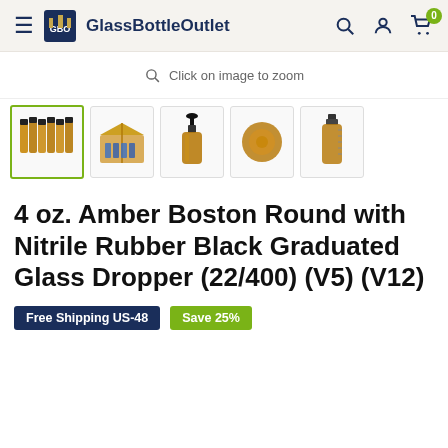GlassBottleOutlet
[Figure (screenshot): Zoom icon with text 'Click on image to zoom']
[Figure (photo): Product image thumbnails: group of amber bottles, box of bottles, single amber dropper bottle, bottle cap bottom view, bottle with measurement markings]
4 oz. Amber Boston Round with Nitrile Rubber Black Graduated Glass Dropper (22/400) (V5) (V12)
Free Shipping US-48   Save 25%